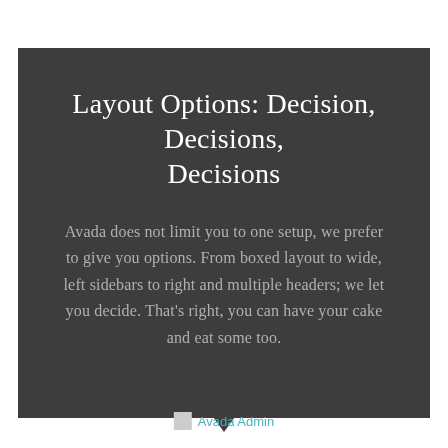Layout Options: Decision, Decisions, Decisions
Avada does not limit you to one setup, we prefer to give you options. From boxed layout to wide, left sidebars to right and multiple headers; we let you decide. That's right, you can have your cake and eat some too.
[Figure (illustration): Dark downward-pointing arrow/chevron below the dark box]
Avada Admin